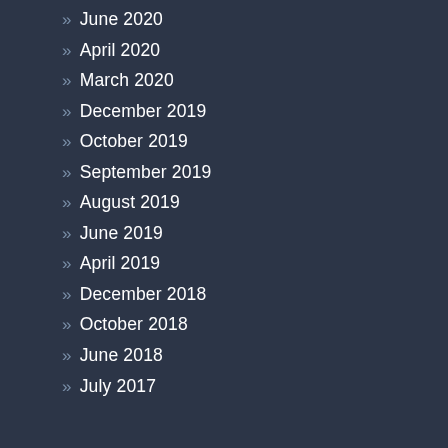» June 2020
» April 2020
» March 2020
» December 2019
» October 2019
» September 2019
» August 2019
» June 2019
» April 2019
» December 2018
» October 2018
» June 2018
» July 2017